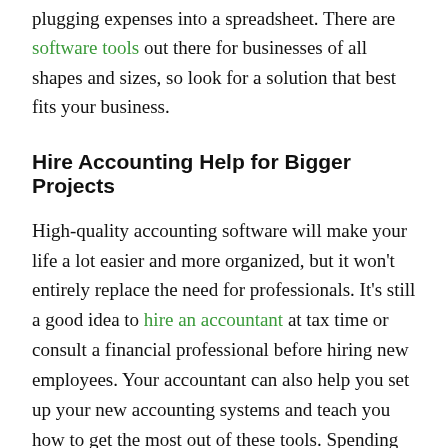plugging expenses into a spreadsheet. There are software tools out there for businesses of all shapes and sizes, so look for a solution that best fits your business.
Hire Accounting Help for Bigger Projects
High-quality accounting software will make your life a lot easier and more organized, but it won't entirely replace the need for professionals. It's still a good idea to hire an accountant at tax time or consult a financial professional before hiring new employees. Your accountant can also help you set up your new accounting systems and teach you how to get the most out of these tools. Spending money on professional accounting services is always a